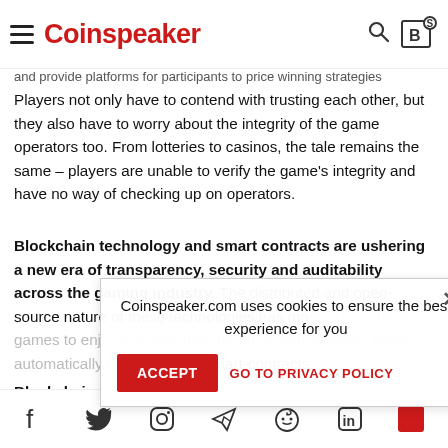Coinspeaker
Players not only have to contend with trusting each other, but they also have to worry about the integrity of the game operators too. From lotteries to casinos, the tale remains the same – players are unable to verify the game's integrity and have no way of checking up on operators.
Blockchain technology and smart contracts are ushering a new era of transparency, security and auditability across the gaming industry. The distributed and open-source nature of these technologies has made it possible for games to enjoy absolute transparency, with winnings being automatically distributed via smart-contracts.
Blockchain technology enables users to directly exchange values with one another through a decentralized platform, which means that the power of gaming is put in the hands of players. This provides players with guaranteed transparency in every game they play, making the winnings depend only on fortune and mathematical probability.
Coinspeaker.com uses cookies to ensure the best experience for you
ACCEPT  GO TO PRIVACY POLICY